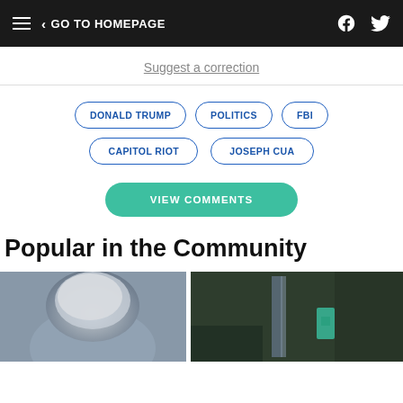GO TO HOMEPAGE
Suggest a correction
DONALD TRUMP
POLITICS
FBI
CAPITOL RIOT
JOSEPH CUA
VIEW COMMENTS
Popular in the Community
[Figure (photo): Photo of a person from behind showing white/grey hair on a blurred background]
[Figure (photo): Photo showing a person outdoors near a pole with a teal/blue bag, dark foliage background]